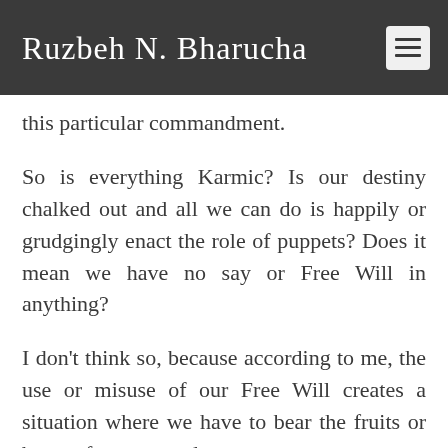Ruzbeh N. Bharucha
this particular commandment.
So is everything Karmic? Is our destiny chalked out and all we can do is happily or grudgingly enact the role of puppets? Does it mean we have no say or Free Will in anything?
I don't think so, because according to me, the use or misuse of our Free Will creates a situation where we have to bear the fruits or brunt of present and